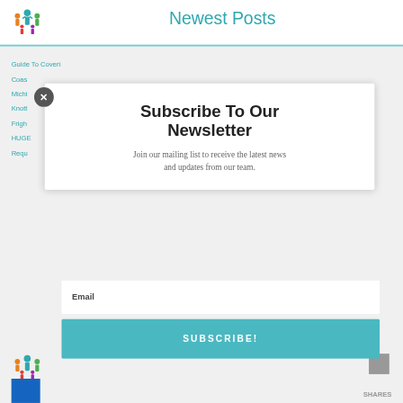Newest Posts
Guide To Covering Michigan's Adventure in 1 day
Coas…
Michi…
Knott…
Frigh…
HUGE…
Requ…
Subscribe To Our Newsletter
Join our mailing list to receive the latest news and updates from our team.
Email
SUBSCRIBE!
SHARES